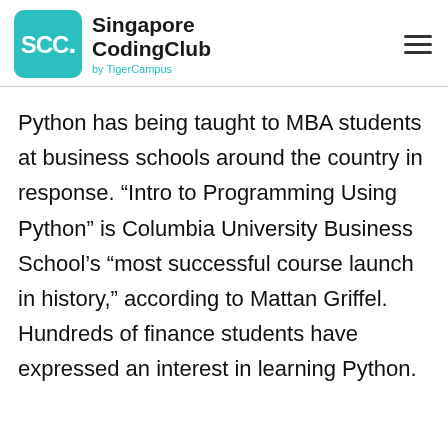SCC. Singapore CodingClub by TigerCampus
Python has being taught to MBA students at business schools around the country in response. “Intro to Programming Using Python” is Columbia University Business School’s “most successful course launch in history,” according to Mattan Griffel. Hundreds of finance students have expressed an interest in learning Python.